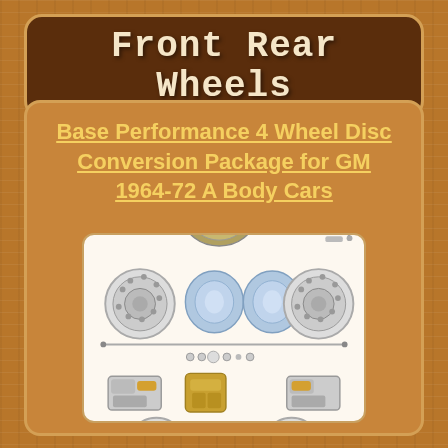Front Rear Wheels
Base Performance 4 Wheel Disc Conversion Package for GM 1964-72 A Body Cars
[Figure (photo): Exploded view of 4 wheel disc brake conversion kit components including brake booster, master cylinder, rotors, calipers, brake pads, hardware, and spindles for GM 1964-72 A Body Cars]